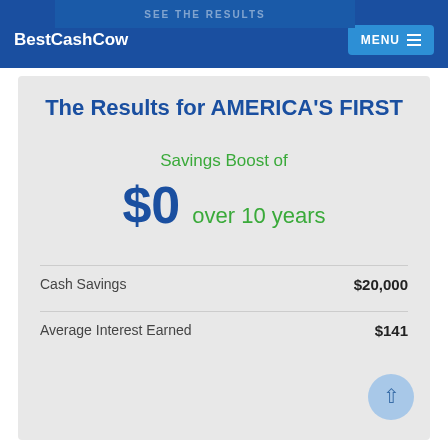BestCashCow  MENU
The Results for AMERICA'S FIRST
Savings Boost of
$0 over 10 years
Cash Savings  $20,000
Average Interest Earned  $141